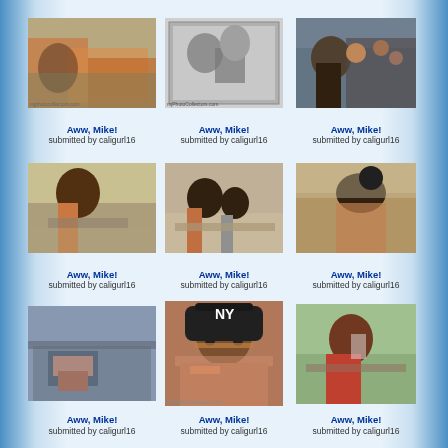[Figure (photo): Photo of person with motorcycle, outdoor scene]
Aww, Mike!
submitted by caligurl16
[Figure (photo): Black and white photo of person with book]
Aww, Mike!
submitted by caligurl16
[Figure (photo): Color photo of person in military-style jacket with sunglasses in crowd]
Aww, Mike!
submitted by caligurl16
[Figure (photo): Person standing outdoors near paved area]
Aww, Mike!
submitted by caligurl16
[Figure (photo): Two people bending over paper or signing something]
Aww, Mike!
submitted by caligurl16
[Figure (photo): Person lying down or reclining in vehicle]
Aww, Mike!
submitted by caligurl16
[Figure (photo): Bumper car or ride photo]
Aww, Mike!
submitted by caligurl16
[Figure (photo): Person wearing NY Yankees cap and sunglasses, MJPhotosCollectors.com watermark]
Aww, Mike!
submitted by caligurl16
[Figure (photo): Person in red jacket outdoors]
Aww, Mike!
submitted by caligurl16